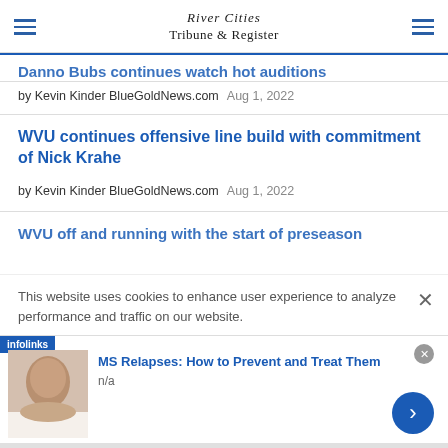River Cities Tribune & Register
Danno Bubs continues watch hot auditions
by Kevin Kinder BlueGoldNews.com   Aug 1, 2022
WVU continues offensive line build with commitment of Nick Krahe
by Kevin Kinder BlueGoldNews.com   Aug 1, 2022
WVU off and running with the start of preseason
This website uses cookies to enhance user experience to analyze performance and traffic on our website.
MS Relapses: How to Prevent and Treat Them
n/a